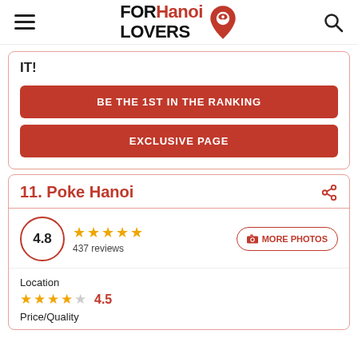FOR Hanoi LOVERS
IT!
BE THE 1ST IN THE RANKING
EXCLUSIVE PAGE
11. Poke Hanoi
4.8  437 reviews
MORE PHOTOS
Location  4.5
Price/Quality